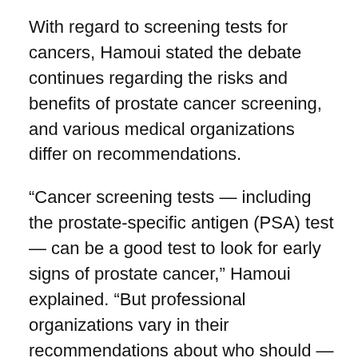With regard to screening tests for cancers, Hamoui stated the debate continues regarding the risks and benefits of prostate cancer screening, and various medical organizations differ on recommendations.
“Cancer screening tests — including the prostate-specific antigen (PSA) test — can be a good test to look for early signs of prostate cancer,” Hamoui explained. “But professional organizations vary in their recommendations about who should — and who shouldn’t — get a PSA screening test. While some have definitive guidelines, the decision is up to each individual and their doctor.”
“Some types of prostate cancer grow slowly,” Hamoui explained. “In some of those cases, we recommend monitoring regularly. Other types are more aggressive and